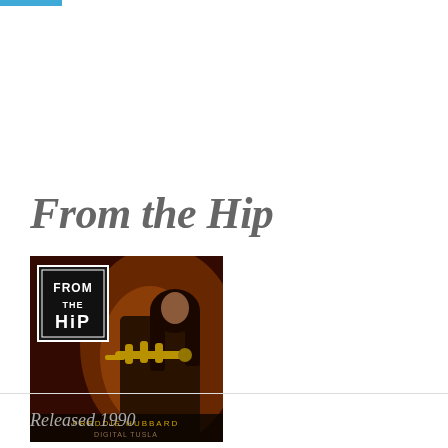From the Hip
[Figure (photo): Album cover for 'From the Hip' by Freddie Hubbard, showing a musician playing trumpet against a dark red background, with the 'FROM THE HIP' logo in the upper left corner and artist name text at the bottom.]
Released 1990